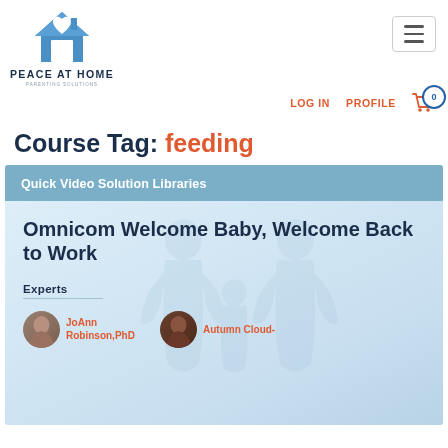[Figure (logo): Peace at Home Parenting Solutions logo — house icon with heart, text PEACE AT HOME PARENTING SOLUTIONS]
LOG IN   PROFILE   [cart icon] 0
Course Tag: feeding
Quick Video Solution Libraries
Omnicom Welcome Baby, Welcome Back to Work
Experts
JoAnn Robinson,PhD
Autumn Cloud-